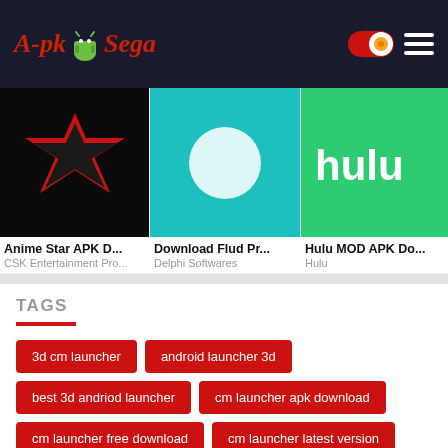ApkSega
[Figure (screenshot): App card: Anime Star APK D... - CSK Entertainment Pro...]
[Figure (screenshot): App card: Download Flud Pr... - Delphi Softwares]
[Figure (screenshot): App card: Hulu MOD APK Do... - Hulu]
TAGS
3d cm launcher
android launcher 3d
best 3d andriod launcher
cm launcher apk download
cm launcher free download
cm launcher latest version
cm launcher pro
cm security launcher